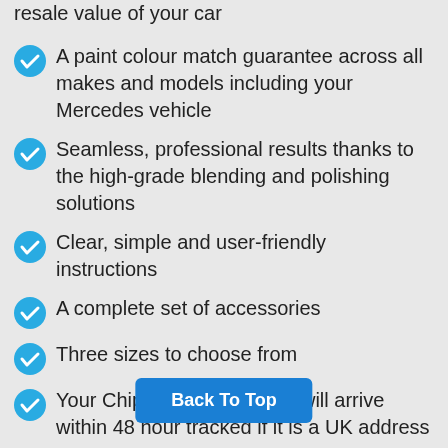resale value of your car
A paint colour match guarantee across all makes and models including your Mercedes vehicle
Seamless, professional results thanks to the high-grade blending and polishing solutions
Clear, simple and user-friendly instructions
A complete set of accessories
Three sizes to choose from
Your Chipex paint repair kit will arrive within 48 hour tracked if it is a UK address
All Chipex paint kits are tailor made to